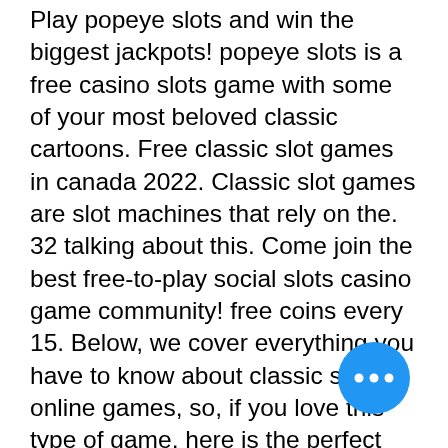Play popeye slots and win the biggest jackpots! popeye slots is a free casino slots game with some of your most beloved classic cartoons. Free classic slot games in canada 2022. Classic slot games are slot machines that rely on the. 32 talking about this. Come join the best free-to-play social slots casino game community! free coins every 15. Below, we cover everything you have to know about classic slots online games, so, if you love this type of game, here is the perfect place to learn more. Go back in time and start playing old classic slots. High slot bonuses for janspins' players. You can play classic slots for free or with real money. When you want to play with real money you need to register an account at. Over 9000 free online slots games to play (2022) - play free slot machines from the top providers. Play instantly, no download, registration required! Transport yourself to the las vegas casino floor and play some
[Figure (other): A circular blue floating action button with three white dots (ellipsis/more options icon)]